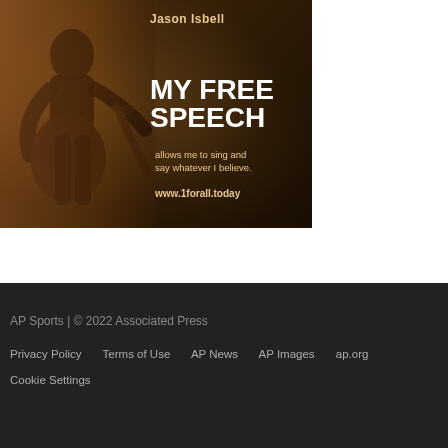[Figure (illustration): Advertisement showing Jason Isbell playing guitar in sepia tone, with text 'MY FREE SPEECH allows me to sing and say whatever I believe.' and URL www.1forall.today]
AP Sports | © 2022 Associated Press
Privacy Policy   Terms of Use   AP News   AP Images   ap.org
Cookie Settings